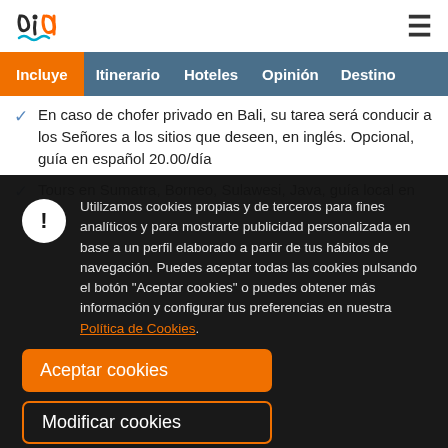[Figure (logo): vid/biu logo in dark color with orange/teal curvy letters]
≡
Incluye | Itinerario | Hoteles | Opinión | Destino
En caso de chofer privado en Bali, su tarea será conducir a los Señores a los sitios que deseen, en inglés. Opcional, guía en español 20.00/día
Tours en Sumatra, Borneo, Sulawesi, Java, guía local en
Utilizamos cookies propias y de terceros para fines analíticos y para mostrarte publicidad personalizada en base a un perfil elaborado a partir de tus hábitos de navegación. Puedes aceptar todas las cookies pulsando el botón "Aceptar cookies" o puedes obtener más información y configurar tus preferencias en nuestra Política de Cookies.
Aceptar cookies
Modificar cookies